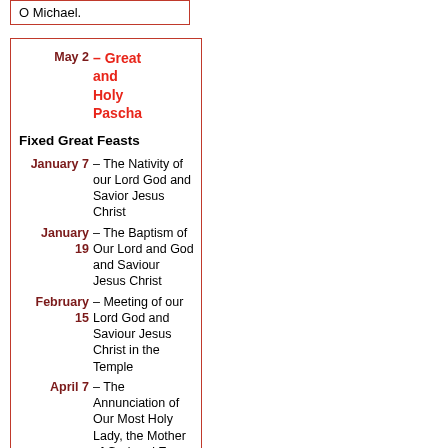O Michael.
| Date | Description |
| --- | --- |
| May 2 | – Great and Holy Pascha |
|  | Fixed Great Feasts |
| January 7 | – The Nativity of our Lord God and Savior Jesus Christ |
| January 19 | – The Baptism of Our Lord and God and Saviour Jesus Christ |
| February 15 | – Meeting of our Lord God and Saviour Jesus Christ in the Temple |
| April 7 | – The Annunciation of Our Most Holy Lady, the Mother of God and Ever-Virgin Mar |
|  | – The Holy... |